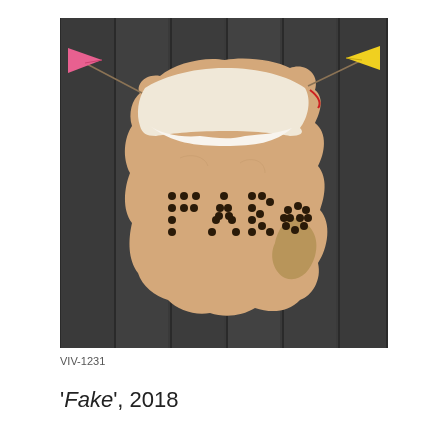[Figure (photo): A piece of animal hide/fur hung against dark wooden planks. The hide has the word 'Fake' spelled out in dark dots/studs on its beige surface. The hide is hung by strings or rope attached at two upper corners, with a pink triangular flag on the left and a yellow triangular flag on the right.]
VIV-1231
'Fake', 2018